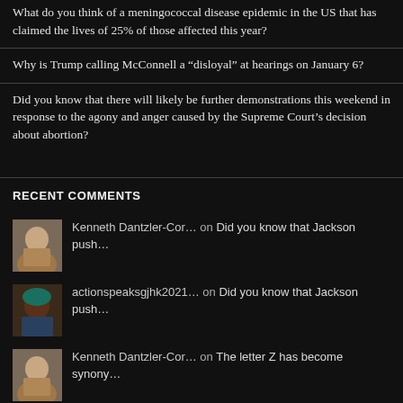What do you think of a meningococcal disease epidemic in the US that has claimed the lives of 25% of those affected this year?
Why is Trump calling McConnell a “disloyal” at hearings on January 6?
Did you know that there will likely be further demonstrations this weekend in response to the agony and anger caused by the Supreme Court’s decision about abortion?
RECENT COMMENTS
Kenneth Dantzler-Cor… on Did you know that Jackson push…
actionspeaksgjhk2021… on Did you know that Jackson push…
Kenneth Dantzler-Cor… on The letter Z has become synony…
A Man from the North… on The letter Z has become